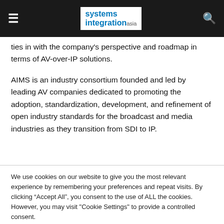≡  systems integration asia  🔍
ties in with the company's perspective and roadmap in terms of AV-over-IP solutions.
AIMS is an industry consortium founded and led by leading AV companies dedicated to promoting the adoption, standardization, development, and refinement of open industry standards for the broadcast and media industries as they transition from SDI to IP.
We use cookies on our website to give you the most relevant experience by remembering your preferences and repeat visits. By clicking "Accept All", you consent to the use of ALL the cookies. However, you may visit "Cookie Settings" to provide a controlled consent.
Cookie Settings  Accept All